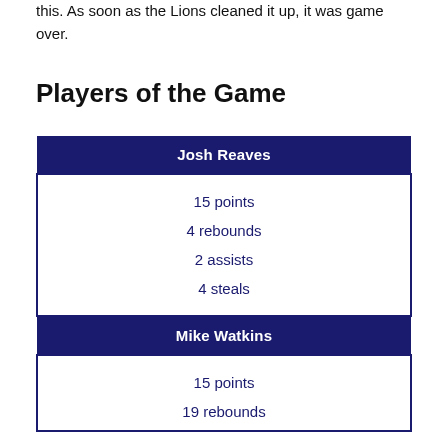this. As soon as the Lions cleaned it up, it was game over.
Players of the Game
| Josh Reaves |
| --- |
| 15 points |
| 4 rebounds |
| 2 assists |
| 4 steals |
| Mike Watkins |
| --- |
| 15 points |
| 19 rebounds |